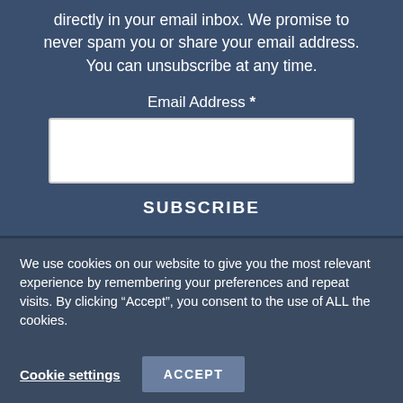directly in your email inbox. We promise to never spam you or share your email address. You can unsubscribe at any time.
Email Address *
SUBSCRIBE
We use cookies on our website to give you the most relevant experience by remembering your preferences and repeat visits. By clicking “Accept”, you consent to the use of ALL the cookies.
Cookie settings
ACCEPT